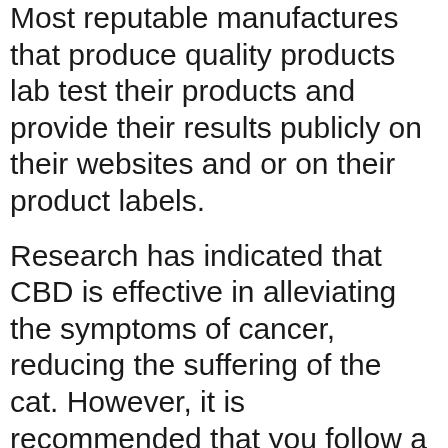Most reputable manufactures that produce quality products lab test their products and provide their results publicly on their websites and or on their product labels.
Research has indicated that CBD is effective in alleviating the symptoms of cancer, reducing the suffering of the cat. However, it is recommended that you follow a healthy diet and get regular exercise so CBD can provide maximum results. Working from the inside out, though, CBD oil for weight loss is a fantastic supplement to your regimen. Increase as necessary.If after a few days you don't feel a change, try increasing your dosage slightly. The goal of the study was to explore CBD's potential in treating and preventing obesity.
RSHO® Liquids are created by mixing our popular